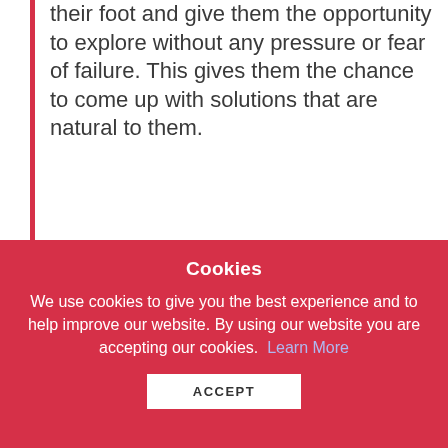their foot and give them the opportunity to explore without any pressure or fear of failure. This gives them the chance to come up with solutions that are natural to them.
Mark's view on giving children the opportunity to find their own way towards skills solutions
Long-term planning with session level flexibility
Cookies
We use cookies to give you the best experience and to help improve our website. By using our website you are accepting our cookies. Learn More
ACCEPT